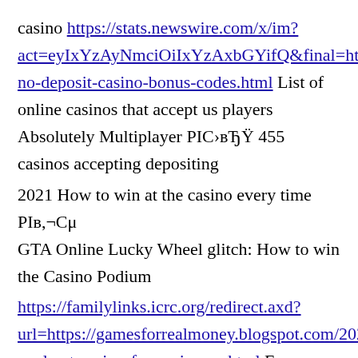casino https://stats.newswire.com/x/im?act=eyIxYzAyNmciOiIxYzAxbGYifQ&final=https://gamesforrealmoney.blogspot.com/2021/06/tigers-no-deposit-casino-bonus-codes.html List of online casinos that accept us players Absolutely Multiplayer PIC›вЂŸ 455 casinos accepting depositing
2021 How to win at the casino every time PIв,¬Сμ
GTA Online Lucky Wheel glitch: How to win the Casino Podium
https://familylinks.icrc.org/redirect.axd?url=https://gamesforrealmoney.blogspot.com/2021/05/peaks-cool-cat-casino-free-spins-no.html Free